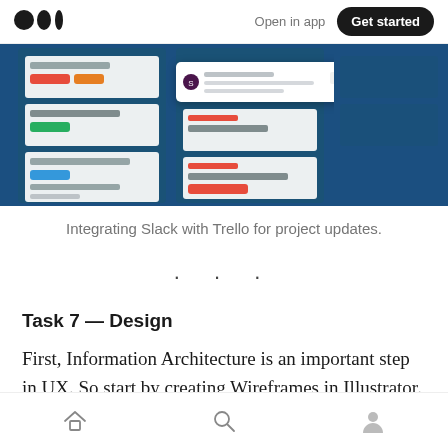Open in app  Get started
[Figure (screenshot): Screenshot of Trello board integrated with Slack, showing project cards and a Slack notification popup on a dark blue background.]
Integrating Slack with Trello for project updates.
• • •
Task 7 — Design
First, Information Architecture is an important step in UX. So start by creating Wireframes in Illustrator.
Home  Search  Profile